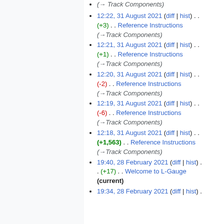(→ Track Components)
12:22, 31 August 2021 (diff | hist) . . (+3) . . Reference Instructions (→Track Components)
12:21, 31 August 2021 (diff | hist) . . (+1) . . Reference Instructions (→Track Components)
12:20, 31 August 2021 (diff | hist) . . (-2) . . Reference Instructions (→Track Components)
12:19, 31 August 2021 (diff | hist) . . (-6) . . Reference Instructions (→Track Components)
12:18, 31 August 2021 (diff | hist) . . (+1,563) . . Reference Instructions (→Track Components)
19:40, 28 February 2021 (diff | hist) . . (+17) . . Welcome to L-Gauge (current)
19:34, 28 February 2021 (diff | hist)